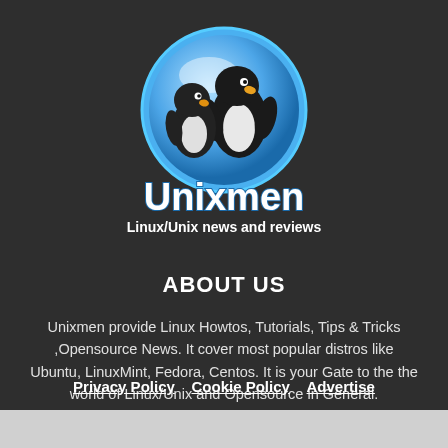[Figure (logo): Unixmen logo with penguin mascots in a blue circle and stylized 'Unixmen' text with tagline 'Linux/Unix news and reviews']
ABOUT US
Unixmen provide Linux Howtos, Tutorials, Tips & Tricks ,Opensource News. It cover most popular distros like Ubuntu, LinuxMint, Fedora, Centos. It is your Gate to the the world of Linux/Unix and Opensource in General.
Privacy Policy   Cookie Policy   Advertise